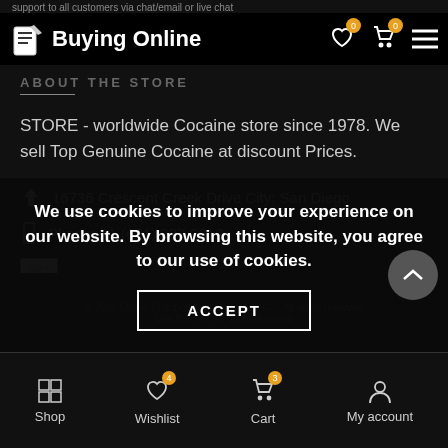support to all customers via chat/email or live chat
Buying Online
ABOUT THE STORE
STORE - worldwide Cocaine store since 1978. We sell Top Genuine Cocaine at discount Prices.
16736 Crescent Creek Drive City: San Diego
Phone: +1 (651) 337-9012
[Figure (other): Broken image placeholder]
We use cookies to improve your experience on our website. By browsing this website, you agree to our use of cookies.
ACCEPT
© 2022 Online Distributions | ONLINE INC. - All rights reserved  ONLINE Inc. All rights reserved
Shop  Wishlist  Cart  My account